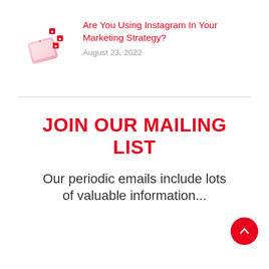[Figure (illustration): Smartphone with social media notification icons (hearts/likes) floating above it, pink and red gradient design]
Are You Using Instagram In Your Marketing Strategy?
August 23, 2022
JOIN OUR MAILING LIST
Our periodic emails include lots of valuable information...